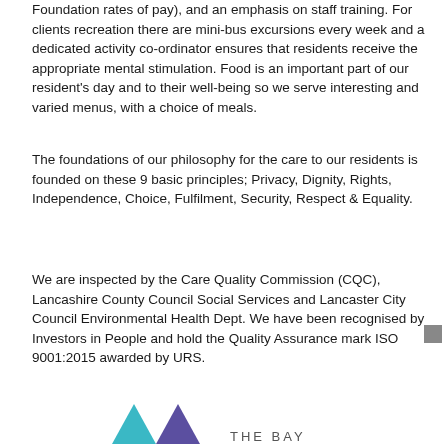Foundation rates of pay), and an emphasis on staff training.  For clients recreation there are mini-bus excursions every week and a dedicated activity co-ordinator ensures that residents receive the appropriate mental stimulation. Food is an important part of our resident's day and to their well-being so we serve interesting and varied menus, with a choice of meals.
The foundations of our philosophy for the care to our residents is founded on these 9 basic principles; Privacy, Dignity, Rights, Independence, Choice, Fulfilment, Security, Respect & Equality.
We are inspected by the Care Quality Commission (CQC), Lancashire County Council Social Services and Lancaster City Council Environmental Health Dept. We have been recognised by Investors in People and hold the Quality Assurance mark ISO 9001:2015 awarded by URS.
[Figure (logo): The Bay logo with two triangles and text THE BAY]